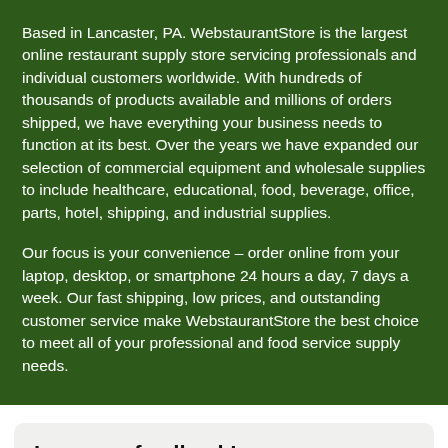Based in Lancaster, PA. WebstaurantStore is the largest online restaurant supply store servicing professionals and individual customers worldwide. With hundreds of thousands of products available and millions of orders shipped, we have everything your business needs to function at its best. Over the years we have expanded our selection of commercial equipment and wholesale supplies to include healthcare, educational, food, beverage, office, parts, hotel, shipping, and industrial supplies.
Our focus is your convenience – order online from your laptop, desktop, or smartphone 24 hours a day, 7 days a week. Our fast shipping, low prices, and outstanding customer service make WebstaurantStore the best choice to meet all of your professional and food service supply needs.
Leave us feedback!
* How can we improve your experience?